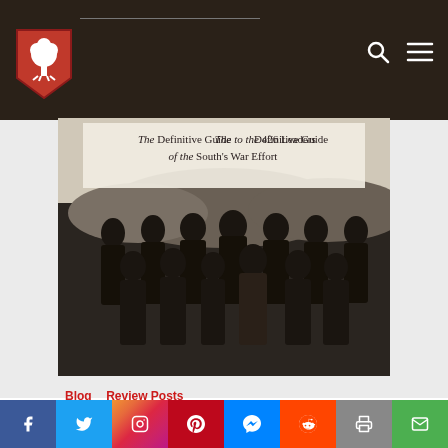Website header with shield logo, search and menu icons
[Figure (photo): Book cover or promotional image showing Confederate generals in a group portrait with text 'The Definitive Guide to the 426 Leaders of the South's War Effort']
Blog  Review Posts
The Encyclopedia of
[Figure (infographic): Social share bar with Facebook, Twitter, Instagram, Pinterest, Messenger, Reddit, Print, and Email buttons]